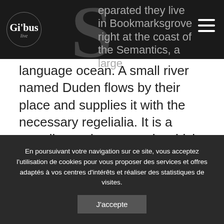Gibus Live [logo] — navigation header with hamburger menu
eparated they live in Bookmarksgrove right at the coast of the Semantics, a large language ocean. A small river named Duden flows by their place and supplies it with the necessary regelialia. It is a paradisematic country, in which roasted parts of sentences fly into your mouth. Even the all-powerful Pointing has no control about the blind texts it is an almost unorthographic life One day however a small line of blind text by the name of Lorem Ipsum decided to leave for the far World of Grammar. The Big Oxmox advised her not to do so, because there were thousands of bad
En poursuivant votre navigation sur ce site, vous acceptez l'utilisation de cookies pour vous proposer des services et offres adaptés à vos centres d'intérêts et réaliser des statistiques de visites.
J'accepte